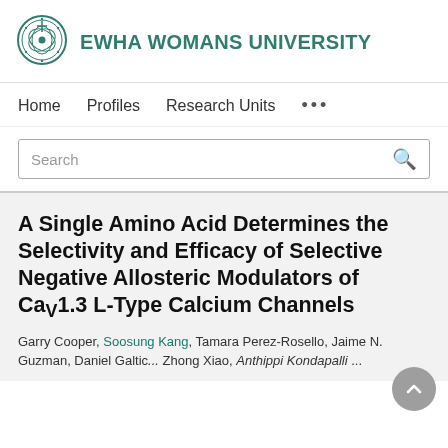[Figure (logo): Ewha Womans University circular seal/logo in green]
EWHA WOMANS UNIVERSITY
Home   Profiles   Research Units   ...
Search
A Single Amino Acid Determines the Selectivity and Efficacy of Selective Negative Allosteric Modulators of CaV1.3 L-Type Calcium Channels
Garry Cooper, Soosung Kang, Tamara Perez-Rosello, Jaime N. Guzman, Daniel Galicia, Zhong Xiao, Anthippi Kondapalli, ...